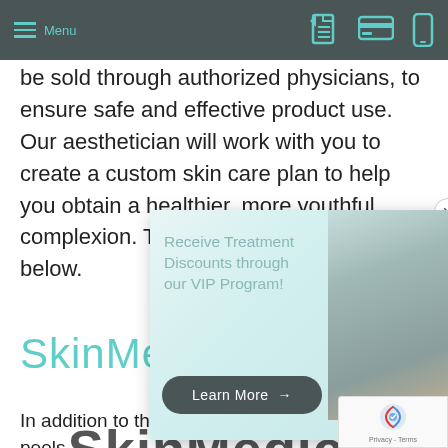Menu
be sold through authorized physicians, to ensure safe and effective product use. Our aesthetician will work with you to create a custom skin care plan to help you obtain a healthier, more youthful complexion. To learn about our sections below.
[Figure (infographic): Popup advertisement: 'Receive Treatment Discounts through our VIP Program!' with a Learn More button and photo of a woman]
SkinMed
[Figure (logo): SkinMedica logo with diamond-shaped icon and text 'SkinMedica']
In addition to the brand's line of chemical peels,